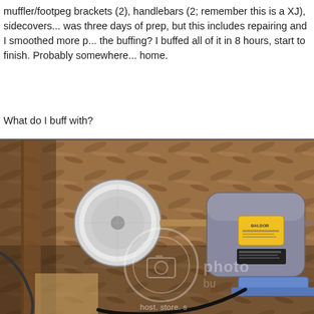muffler/footpeg brackets (2), handlebars (2; remember this is a XJ), sidecovers... was three days of prep, but this includes repairing and I smoothed more parts... the buffing? I buffed all of it in 8 hours, start to finish. Probably somewhere... home.
What do I buff with?
[Figure (photo): A bench grinder/buffer machine with a buffing wheel on the left spindle, gray motor body with a yellow label plate, mounted on a blue base. Background shows OSB plywood workshop wall. A Photobucket watermark is overlaid in the lower portion of the image.]